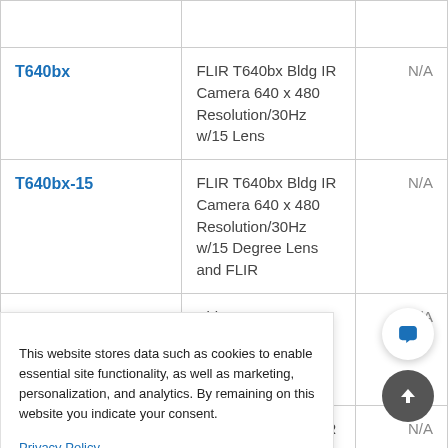| Model | Description | Price |
| --- | --- | --- |
| T640bx | FLIR T640bx Bldg IR Camera 640 x 480 Resolution/30Hz w/15 Lens | N/A |
| T640bx-15 | FLIR T640bx Bldg IR Camera 640 x 480 Resolution/30Hz w/15 Degree Lens and FLIR | N/A |
|  | Bldg IR ..480 ..Hz w/25 and FLIR | N/A |
| T640bx-45 | FLIR T640bx Bldg IR | N/A |
This website stores data such as cookies to enable essential site functionality, as well as marketing, personalization, and analytics. By remaining on this website you indicate your consent.

Privacy Policy